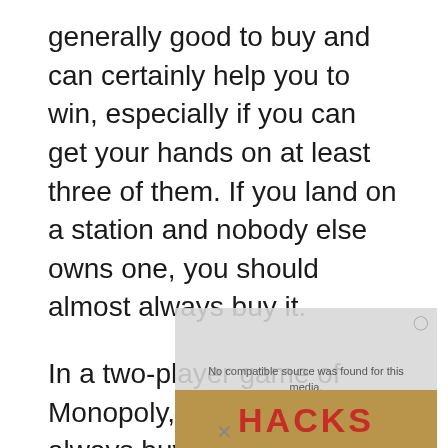generally good to buy and can certainly help you to win, especially if you can get your hands on at least three of them. If you land on a station and nobody else owns one, you should almost always buy it.
In a two-player game of Monopoly, you should always buy stations as doing so will either help you to get you a collection of three or four or will block your opponent from doing
[Figure (screenshot): Video player overlay showing 'No compatible source was found for this media.' message with a semi-transparent grey background, a red and yellow 'HACKS' image below, and an X close button.]